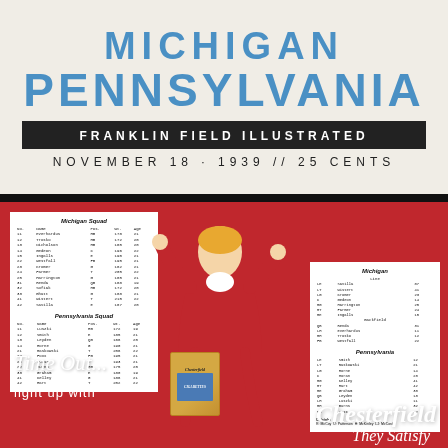MICHIGAN
PENNSYLVANIA
FRANKLIN FIELD ILLUSTRATED
NOVEMBER 18 · 1939 // 25 CENTS
[Figure (photo): Red advertisement for Chesterfield cigarettes featuring a cheerleader in a red uniform with rosters for Michigan and Pennsylvania football teams overlaid. Text reads: Time Out... light up with Chesterfield They Satisfy.]
Time Out...
light up with
Chesterfield
They Satisfy